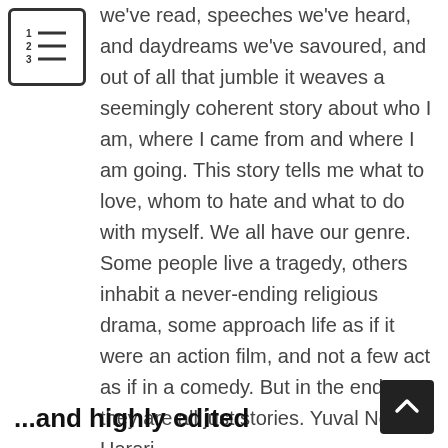[Figure (illustration): Numbered list icon with lines, inside a rounded rectangle border]
we've read, speeches we've heard, and daydreams we've savoured, and out of all that jumble it weaves a seemingly coherent story about who I am, where I came from and where I am going. This story tells me what to love, whom to hate and what to do with myself. We all have our genre. Some people live a tragedy, others inhabit a never-ending religious drama, some approach life as if it were an action film, and not a few act as if in a comedy. But in the end, they are all just stories. Yuval Noah Harari
...and highly edited
[Figure (illustration): Scroll-to-top button: dark square with upward chevron arrow]